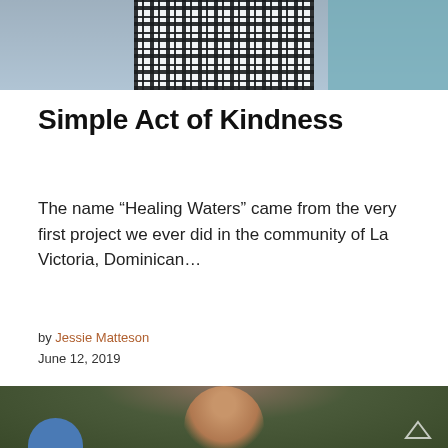[Figure (photo): Top portion of a photograph showing a person wearing a black and white plaid/checkered shirt against a teal background]
Simple Act of Kindness
The name “Healing Waters” came from the very first project we ever did in the community of La Victoria, Dominican…
by Jessie Matteson
June 12, 2019
[Figure (photo): Bottom portion of a photograph showing a smiling child with dark hair outdoors among trees, with a blue object in the lower left corner]